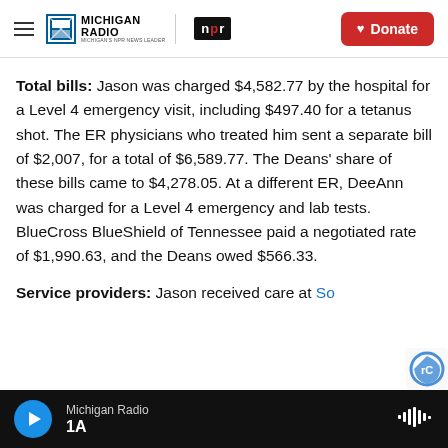Michigan Radio | NPR | Donate
Total bills: Jason was charged $4,582.77 by the hospital for a Level 4 emergency visit, including $497.40 for a tetanus shot. The ER physicians who treated him sent a separate bill of $2,007, for a total of $6,589.77. The Deans' share of these bills came to $4,278.05. At a different ER, DeeAnn was charged for a Level 4 emergency and lab tests. BlueCross BlueShield of Tennessee paid a negotiated rate of $1,990.63, and the Deans owed $566.33.
Service providers: Jason received care at So[...]
Michigan Radio | 1A